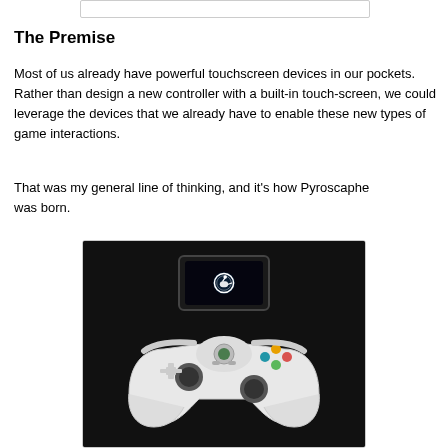[Figure (other): Top portion of a previous image/figure (partially visible at top of page)]
The Premise
Most of us already have powerful touchscreen devices in our pockets.  Rather than design a new controller with a built-in touch-screen, we could leverage the devices that we already have to enable these new types of game interactions.
That was my general line of thinking, and it's how Pyroscaphe was born.
[Figure (photo): A white Xbox 360 controller with a smartphone (displaying the Steam logo) resting on top of it, placed on a dark cloth background.]